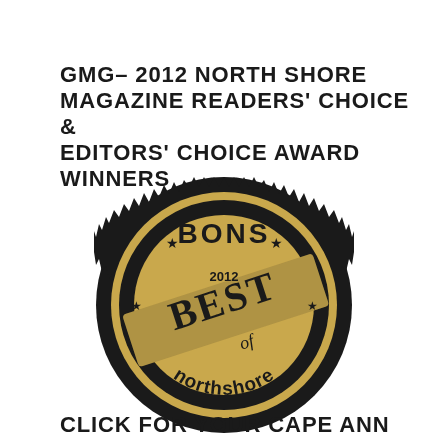GMG– 2012 NORTH SHORE MAGAZINE READERS' CHOICE & EDITORS' CHOICE AWARD WINNERS
[Figure (logo): Best of Northshore 2012 award badge - black circular seal with gold lettering reading BONS, 2012 BEST of northshore]
CLICK FOR YOUR CAPE ANN